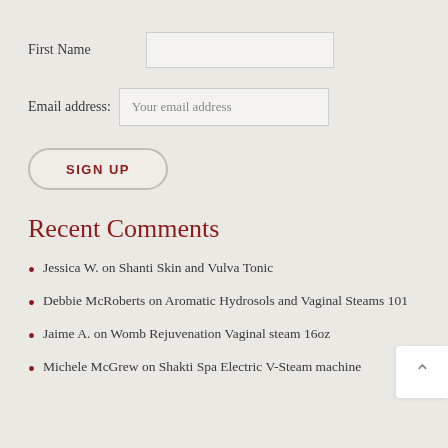First Name
Email address: Your email address
SIGN UP
Recent Comments
Jessica W. on Shanti Skin and Vulva Tonic
Debbie McRoberts on Aromatic Hydrosols and Vaginal Steams 101
Jaime A. on Womb Rejuvenation Vaginal steam 16oz
Michele McGrew on Shakti Spa Electric V-Steam machine